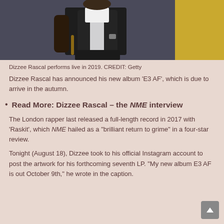[Figure (photo): Photo of Dizzee Rascal performing live, wearing a black and white jacket, holding a microphone stand, with a yellow background element visible.]
Dizzee Rascal performs live in 2019. CREDIT: Getty
Dizzee Rascal has announced his new album ‘E3 AF’, which is due to arrive in the autumn.
Read More: Dizzee Rascal – the NME interview
The London rapper last released a full-length record in 2017 with ‘Raskit’, which NME hailed as a “brilliant return to grime” in a four-star review.
Tonight (August 18), Dizzee took to his official Instagram account to post the artwork for his forthcoming seventh LP. “My new album E3 AF is out October 9th,” he wrote in the caption.